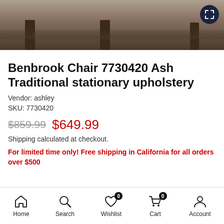[Figure (photo): Product photo of Benbrook Chair, partial view showing chair legs on a rug, with expand/fullscreen button in top right corner]
Benbrook Chair 7730420 Ash Traditional stationary upholstery
Vendor: ashley
SKU: 7730420
$859.99  $649.99
Shipping calculated at checkout.
For limited time only! Free shipping in California for all orders over $500
Home  Search  Wishlist 0  Cart 0  Account